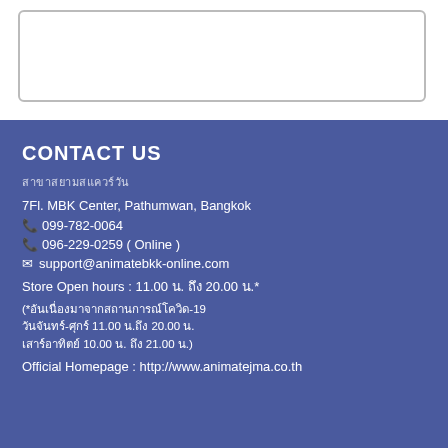[Figure (other): White rectangle with rounded border outline at top of page]
CONTACT US
สาขาสยามสแควร์วัน
7Fl. MBK Center, Pathumwan, Bangkok
099-782-0064
096-229-0259 ( Online )
support@animatebkk-online.com
Store Open hours : 11.00 น. ถึง 20.00 น.*
(*อันเนื่องมาจากสถานการณ์โควิด-19 วันจันทร์-ศุกร์ 11.00 น.ถึง 20.00 น. เสาร์อาทิตย์ 10.00 น. ถึง 21.00 น.)
Official Homepage : http://www.animatejma.co.th